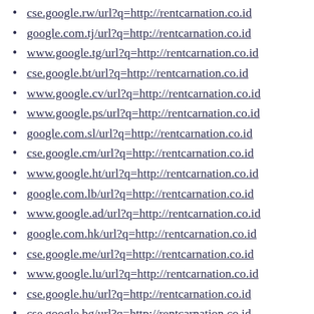cse.google.rw/url?q=http://rentcarnation.co.id
google.com.tj/url?q=http://rentcarnation.co.id
www.google.tg/url?q=http://rentcarnation.co.id
cse.google.bt/url?q=http://rentcarnation.co.id
www.google.cv/url?q=http://rentcarnation.co.id
www.google.ps/url?q=http://rentcarnation.co.id
google.com.sl/url?q=http://rentcarnation.co.id
cse.google.cm/url?q=http://rentcarnation.co.id
www.google.ht/url?q=http://rentcarnation.co.id
google.com.lb/url?q=http://rentcarnation.co.id
www.google.ad/url?q=http://rentcarnation.co.id
google.com.hk/url?q=http://rentcarnation.co.id
cse.google.me/url?q=http://rentcarnation.co.id
www.google.lu/url?q=http://rentcarnation.co.id
cse.google.hu/url?q=http://rentcarnation.co.id
cse.google.bg/url?q=http://rentcarnation.co.id
google.com.vn/url?q=http://rentcarnation.co.id
cse.google.kg/url?q=http://rentcarnation.co.id
google.com.mx/url?q=http://rentcarnation.co.id